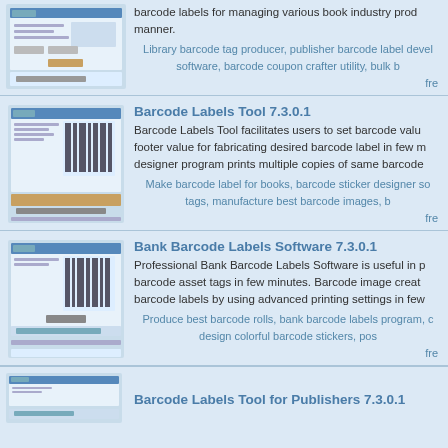barcode labels for managing various book industry prod manner.
Library barcode tag producer, publisher barcode label deve software, barcode coupon crafter utility, bulk b
fre
Barcode Labels Tool 7.3.0.1
Barcode Labels Tool facilitates users to set barcode valu footer value for fabricating desired barcode label in few m designer program prints multiple copies of same barcode
Make barcode label for books, barcode sticker designer so tags, manufacture best barcode images, b
fre
Bank Barcode Labels Software 7.3.0.1
Professional Bank Barcode Labels Software is useful in p barcode asset tags in few minutes. Barcode image creat barcode labels by using advanced printing settings in few
Produce best barcode rolls, bank barcode labels program, c design colorful barcode stickers, pos
fre
Barcode Labels Tool for Publishers 7.3.0.1